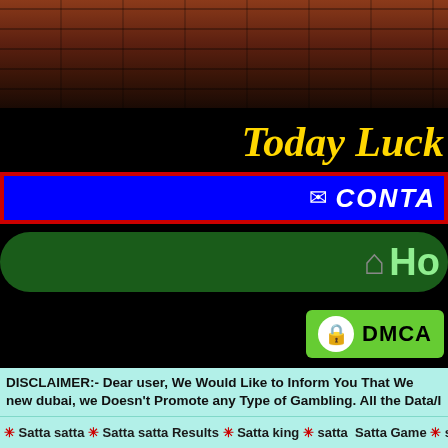[Figure (photo): Brick wall texture background header image]
Today Luck
✉ CONTA
🏠 Ho
[Figure (logo): DMCA protection badge with lock icon]
DISCLAIMER:- Dear user, We Would Like to Inform You That We new dubai, we Doesn't Promote any Type of Gambling. All the Data/I WebSite Is Only for Entertainment Purpose and We Warn You That s Responsible For Any Issues or Scam. We Respect All Country Rules/L Right No
✳ Satta satta ✳ Satta satta Results ✳ Satta king ✳ satta Satta Game ✳ satta Game ✳ Gali satta ✳ Ghaziabad R